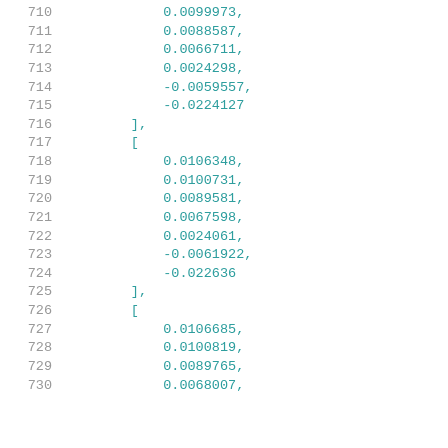710    0.0099973,
711    0.0088587,
712    0.0066711,
713    0.0024298,
714    -0.0059557,
715    -0.0224127
716    ],
717    [
718    0.0106348,
719    0.0100731,
720    0.0089581,
721    0.0067598,
722    0.0024061,
723    -0.0061922,
724    -0.022636
725    ],
726    [
727    0.0106685,
728    0.0100819,
729    0.0089765,
730    0.0068007,